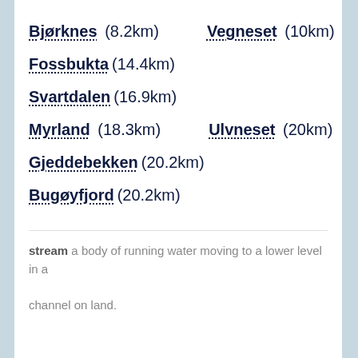Bjørknes (8.2km)    Vegneset (10km)
Fossbukta (14.4km)
Svartdalen (16.9km)
Myrland (18.3km)    Ulvneset (20km)
Gjeddebekken (20.2km)
Bugøyfjord (20.2km)
stream a body of running water moving to a lower level in a channel on land.